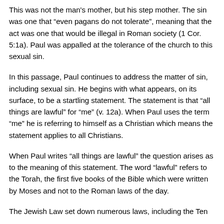This was not the man's mother, but his step mother. The sin was one that “even pagans do not tolerate”, meaning that the act was one that would be illegal in Roman society (1 Cor. 5:1a). Paul was appalled at the tolerance of the church to this sexual sin.
In this passage, Paul continues to address the matter of sin, including sexual sin. He begins with what appears, on its surface, to be a startling statement. The statement is that “all things are lawful” for “me” (v. 12a). When Paul uses the term “me” he is referring to himself as a Christian which means the statement applies to all Christians.
When Paul writes “all things are lawful” the question arises as to the meaning of this statement. The word “lawful” refers to the Torah, the first five books of the Bible which were written by Moses and not to the Roman laws of the day.
The Jewish Law set down numerous laws, including the Ten